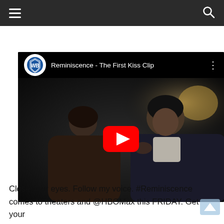Navigation header with hamburger menu and search icon
[Figure (screenshot): YouTube video embed thumbnail showing 'Reminiscence - The First Kiss Clip' by Warner Bros. Two people in close proximity in a dark scene. YouTube play button overlay visible.]
Close your eyes. Follow my voice. #Reminiscence comes to theaters and @HBOMax this FRIDAY. Get your #tickets: https://www.reminiscencefilm.com